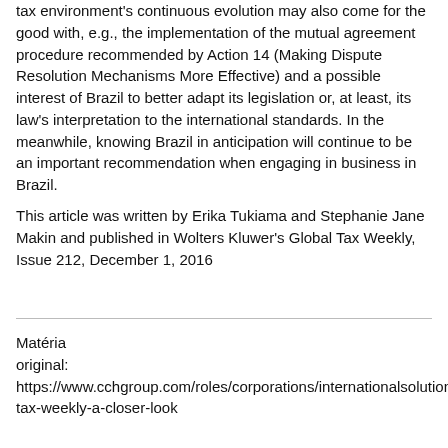tax environment's continuous evolution may also come for the good with, e.g., the implementation of the mutual agreement procedure recommended by Action 14 (Making Dispute Resolution Mechanisms More Effective) and a possible interest of Brazil to better adapt its legislation or, at least, its law's interpretation to the international standards. In the meanwhile, knowing Brazil in anticipation will continue to be an important recommendation when engaging in business in Brazil.
This article was written by Erika Tukiama and Stephanie Jane Makin and published in Wolters Kluwer's Global Tax Weekly, Issue 212, December 1, 2016
Matéria original: https://www.cchgroup.com/roles/corporations/internationalsolutions/research/global-tax-weekly-a-closer-look